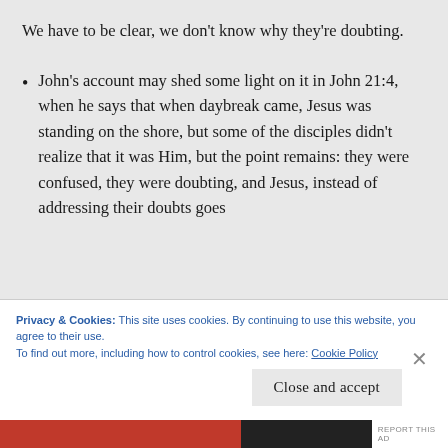We have to be clear, we don't know why they're doubting.
John's account may shed some light on it in John 21:4, when he says that when daybreak came, Jesus was standing on the shore, but some of the disciples didn't realize that it was Him, but the point remains: they were confused, they were doubting, and Jesus, instead of addressing their doubts goes
Privacy & Cookies: This site uses cookies. By continuing to use this website, you agree to their use.
To find out more, including how to control cookies, see here: Cookie Policy
Close and accept